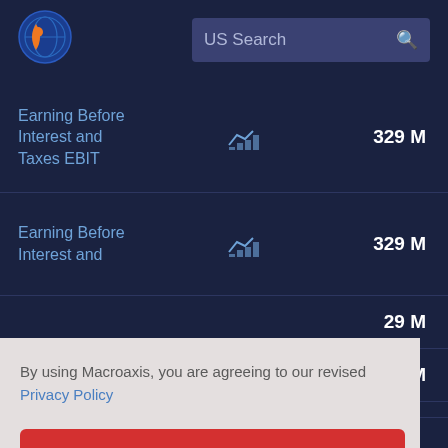[Figure (logo): Macroaxis globe logo with orange and blue design]
US Search
| Metric |  | Value |
| --- | --- | --- |
| Earning Before Interest and Taxes EBIT |  | 329 M |
| Earning Before Interest and |  | 329 M |
|  |  | 29 M |
|  |  | 03 M |
|  |  | 51 M |
| Net Income |  |  |
By using Macroaxis, you are agreeing to our revised Privacy Policy
OK